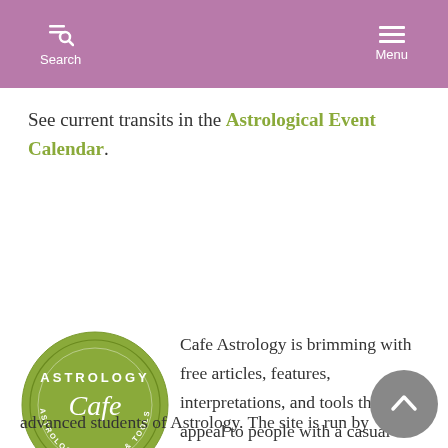Search  Menu
See current transits in the Astrological Event Calendar.
[Figure (logo): Cafe Astrology circular logo — olive green circle with text 'ASTROLOGY Cafe' and 'ASTROLOGY CHARTS & TOOLS' around the border]
Cafe Astrology is brimming with free articles, features, interpretations, and tools that will appeal to people with a casual interest in learning Astrology, as well as beginning through advanced students of Astrology. The site is run by